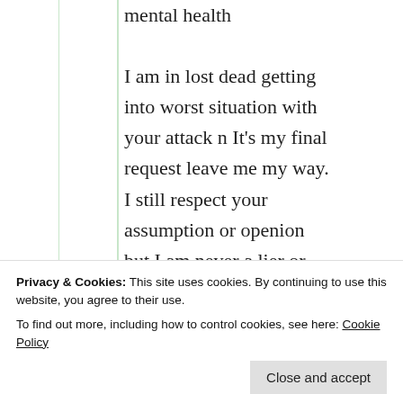mental health
I am in lost dead getting into worst situation with your attack n It's my final request leave me my way. I still respect your assumption or openion but I am never a lier or scammer.
★ Like
Privacy & Cookies: This site uses cookies. By continuing to use this website, you agree to their use.
To find out more, including how to control cookies, see here: Cookie Policy
Close and accept